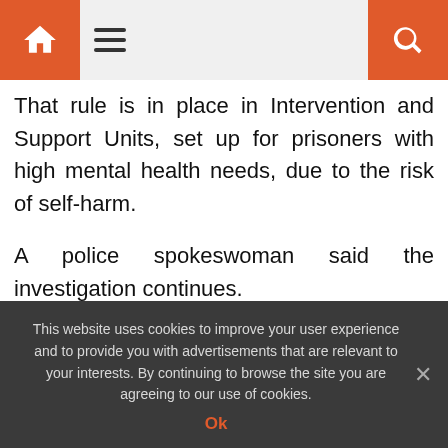Home menu search
That rule is in place in Intervention and Support Units, set up for prisoners with high mental health needs, due to the risk of self-harm.
A police spokeswoman said the investigation continues.
“One person has been charged with other assaults
This website uses cookies to improve your user experience and to provide you with advertisements that are relevant to your interests. By continuing to browse the site you are agreeing to our use of cookies.
Ok